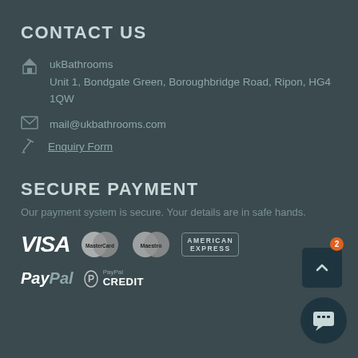CONTACT US
ukBathrooms
Unit 1, Bondgate Green, Boroughbridge Road, Ripon, HG4 1QW
mail@ukbathrooms.com
Enquiry Form
SECURE PAYMENT
Our payment system is secure. Your details are in safe hands.
[Figure (logo): Payment method logos: VISA, MasterCard, Maestro, American Express, PayPal, PayPal Credit]
[Figure (other): Scroll to top button (dark teal square with up arrow) and chat support button (dark teal circle with badge showing 2)]